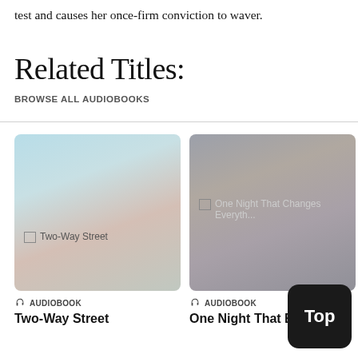test and causes her once-firm conviction to waver.
Related Titles:
BROWSE ALL AUDIOBOOKS
[Figure (other): Audiobook cover image for Two-Way Street, blurred gradient image in blue-pink tones with broken image icon and alt text]
AUDIOBOOK
Two-Way Street
[Figure (other): Audiobook cover image for One Night That Changes Everything, blurred gray-blue gradient with broken image icon and alt text]
AUDIOBOOK
One Night That Eve...